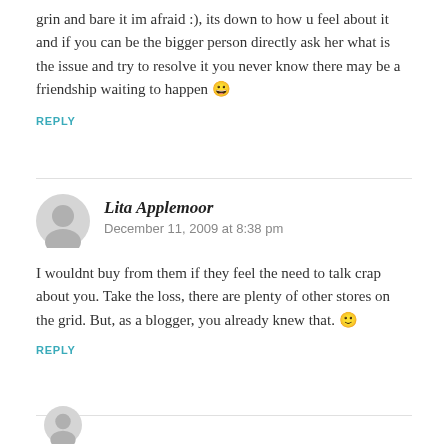grin and bare it im afraid :), its down to how u feel about it and if you can be the bigger person directly ask her what is the issue and try to resolve it you never know there may be a friendship waiting to happen 😀
REPLY
Lita Applemoor
December 11, 2009 at 8:38 pm
I wouldnt buy from them if they feel the need to talk crap about you. Take the loss, there are plenty of other stores on the grid. But, as a blogger, you already knew that. 🙂
REPLY